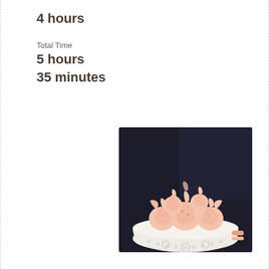4 hours
Total Time
5 hours
35 minutes
[Figure (photo): A white decorative bowl filled with light pink/peach meringue cookies, photographed against a dark background]